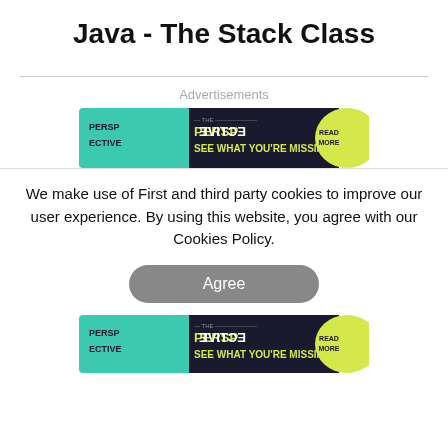Java - The Stack Class
[Figure (illustration): Advertisement banner: 'THE PERSPECTIVE - SEE WHAT YOU'RE MISSING - READ MORE' with teal and dark background and yellow accent]
We make use of First and third party cookies to improve our user experience. By using this website, you agree with our Cookies Policy.
[Figure (illustration): Agree button (rounded rectangle, gray)]
[Figure (illustration): Advertisement banner: 'THE PERSPECTIVE - SEE WHAT YOU'RE MISSING - READ MORE' with teal and dark background and yellow accent]